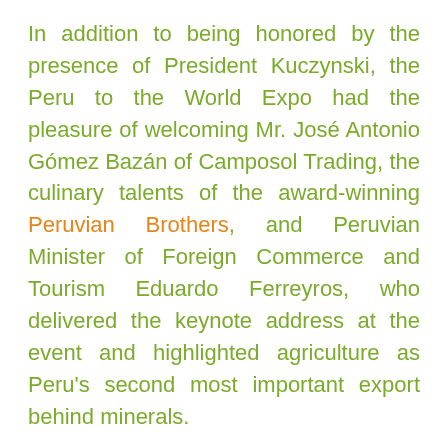In addition to being honored by the presence of President Kuczynski, the Peru to the World Expo had the pleasure of welcoming Mr. José Antonio Gómez Bazán of Camposol Trading, the culinary talents of the award-winning Peruvian Brothers, and Peruvian Minister of Foreign Commerce and Tourism Eduardo Ferreyros, who delivered the keynote address at the event and highlighted agriculture as Peru's second most important export behind minerals.
Peru has proudly provided the world with superfoods for over 5000 years and there are very few countries that can match its